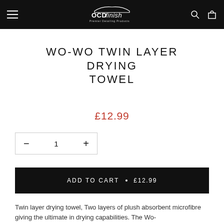OCD Finish - Premier Detailing Products
WO-WO TWIN LAYER DRYING TOWEL
£12.99
ADD TO CART • £12.99
Twin layer drying towel, Two layers of plush absorbent microfibre giving the ultimate in drying capabilities. The Wo-